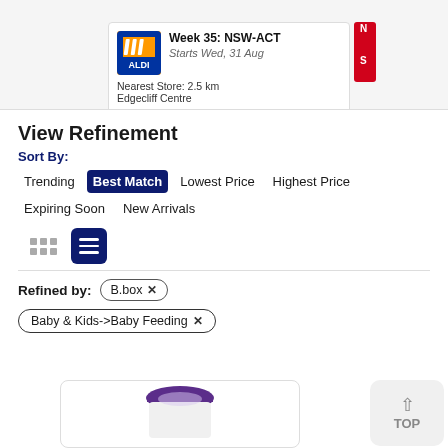[Figure (screenshot): ALDI store catalogue card showing Week 35: NSW-ACT, Starts Wed, 31 Aug, Nearest Store: 2.5 km, Edgecliff Centre]
View Refinement
Sort By:
Trending
Best Match
Lowest Price
Highest Price
Expiring Soon
New Arrivals
Refined by: B.box ✕
Baby & Kids->Baby Feeding ✕
[Figure (photo): Partial product image of a purple and white baby feeding cup/container]